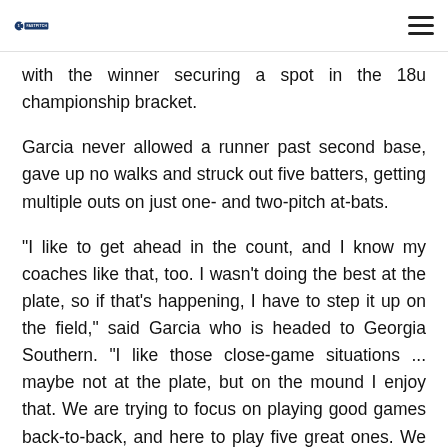10 Fastpitch [logo with hamburger menu]
with the winner securing a spot in the 18u championship bracket.
Garcia never allowed a runner past second base, gave up no walks and struck out five batters, getting multiple outs on just one- and two-pitch at-bats.
"I like to get ahead in the count, and I know my coaches like that, too. I wasn't doing the best at the plate, so if that's happening, I have to step it up on the field," said Garcia who is headed to Georgia Southern. "I like those close-game situations ... maybe not at the plate, but on the mound I enjoy that. We are trying to focus on playing good games back-to-back, and here to play five great ones. We are on the verge of that."